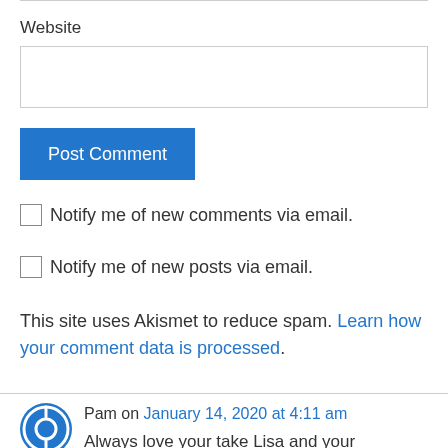Website
[Website input field]
Post Comment
Notify me of new comments via email.
Notify me of new posts via email.
This site uses Akismet to reduce spam. Learn how your comment data is processed.
Pam on January 14, 2020 at 4:11 am
Always love your take Lisa and your